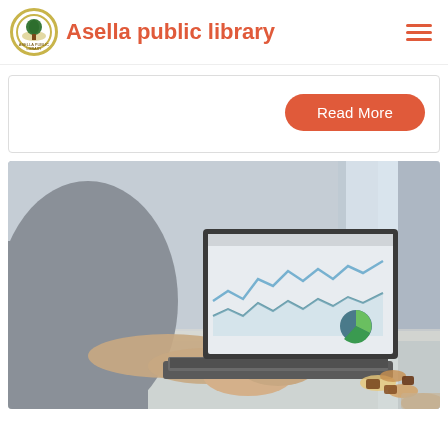Asella public library
Read More
[Figure (photo): Person working on a laptop displaying analytics/charts with a pie chart visible on screen, coffee cup and snacks in background on a desk]